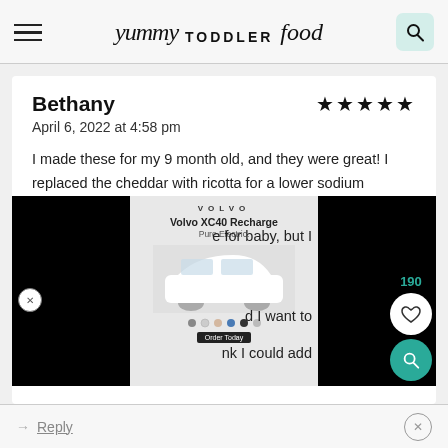yummy TODDLER food
Bethany
April 6, 2022 at 4:58 pm
I made these for my 9 month old, and they were great! I replaced the cheddar with ricotta for a lower sodium [content obscured] for baby, but I [content obscured] d I want to [content obscured] nk I could add
[Figure (screenshot): Advertisement overlay showing Volvo XC40 Recharge Pure Electric car with color swatches, partially obscured by black rectangles on left and right]
Reply
190